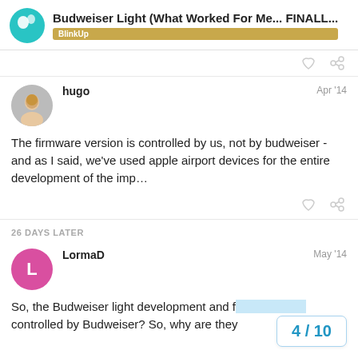Budweiser Light (What Worked For Me... FINALL... BlinkUp
The firmware version is controlled by us, not by budweiser - and as I said, we've used apple airport devices for the entire development of the imp…
26 DAYS LATER
So, the Budweiser light development and f controlled by Budweiser? So, why are they
4 / 10